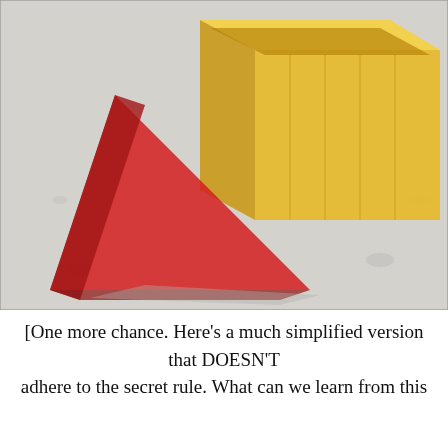[Figure (photo): Photograph of three geometric solid shapes on a white textured fabric surface: a yellow translucent rectangular prism (box) in the upper center, a red translucent triangular pyramid (tetrahedron/prism) on the left, and a small black opaque cylinder/disc on the right.]
[One more chance. Here's a much simplified version that DOESN'T adhere to the secret rule. What can we learn from this